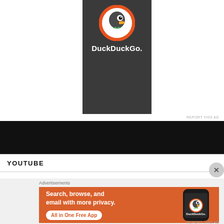[Figure (logo): DuckDuckGo advertisement banner with dark grey background, duck logo at top with orange circle, and DuckDuckGo. text in white below]
REPORT THIS AD
[Figure (screenshot): Black bar, likely a video player or navigation area]
YOUTUBE
Advertisements
[Figure (infographic): DuckDuckGo orange advertisement banner: Search, browse, and email with more privacy. All in One Free App - with smartphone displaying DuckDuckGo logo]
REPORT THIS AD